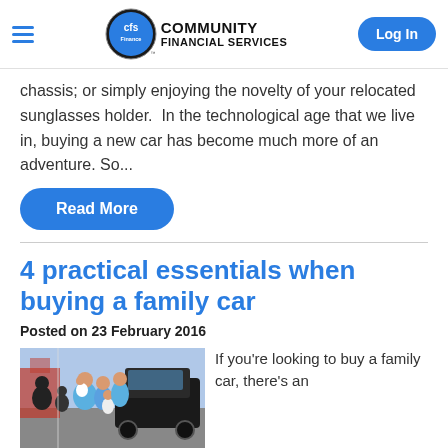Community Financial Services
chassis; or simply enjoying the novelty of your relocated sunglasses holder.  In the technological age that we live in, buying a new car has become much more of an adventure. So...
Read More
4 practical essentials when buying a family car
Posted on 23 February 2016
[Figure (photo): A family group of adults and children posing happily in front of a dark SUV outdoors]
If you're looking to buy a family car, there's an